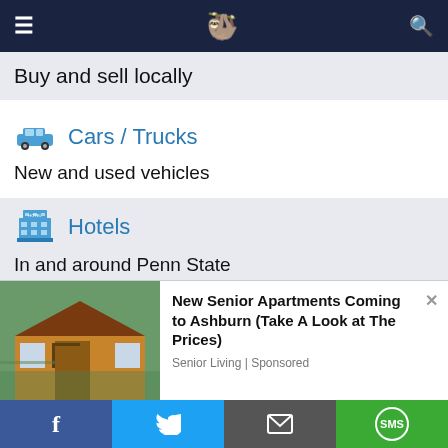Buy and sell locally — navigation bar with hamburger menu, logo, and search icon
Buy and sell locally
Cars / Trucks
New and used vehicles
Hotels
In and around Penn State
Podcast/Pregame Show
[Figure (photo): Advertisement showing a wooden cabin/small house with large windows surrounded by trees. Text: New Senior Apartments Coming to Ashburn (Take A Look at The Prices). Source: Senior Living | Sponsored]
Social sharing bar: Facebook, Twitter, Email, SMS